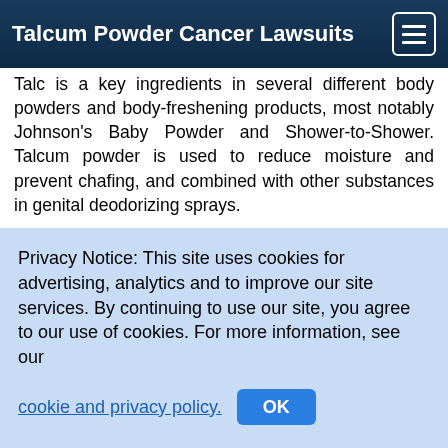Talcum Powder Cancer Lawsuits
Talc is a key ingredients in several different body powders and body-freshening products, most notably Johnson's Baby Powder and Shower-to-Shower. Talcum powder is used to reduce moisture and prevent chafing, and combined with other substances in genital deodorizing sprays.
Researchers say talc particles exposes to the genitals may enter the female reproductive system and migrate to the ovaries. Because talc is insoluble with water, talc particles the reach the ovaries may remain intact for decades. Talc particles cause inflammation in the ovaries, increasing cell proliferation, and leading to damage to DNA. These
Privacy Notice: This site uses cookies for advertising, analytics and to improve our site services. By continuing to use our site, you agree to our use of cookies. For more information, see our cookie and privacy policy.